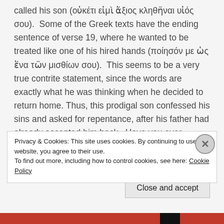called his son (οὐκέτι εἰμὶ ἄξιος κληθῆναι υἱός σου). Some of the Greek texts have the ending sentence of verse 19, where he wanted to be treated like one of his hired hands (ποίησόν με ὡς ἕνα τῶν μισθίων σου). This seems to be a very true contrite statement, since the words are exactly what he was thinking when he decided to return home. Thus, this prodigal son confessed his sins and asked for repentance, after his father had already accepted him back. Have you ever confessed that
Privacy & Cookies: This site uses cookies. By continuing to use this website, you agree to their use.
To find out more, including how to control cookies, see here: Cookie Policy